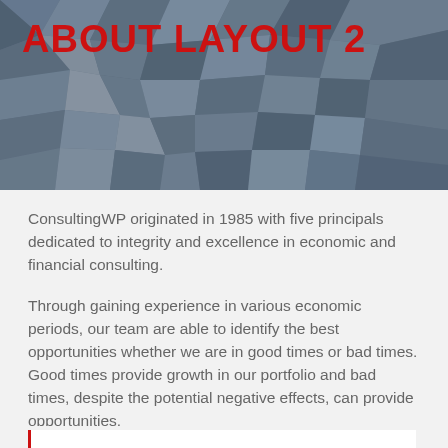[Figure (illustration): Geometric polygon mosaic hero image with dark blue and grey tones serving as page header background]
ABOUT LAYOUT 2
ConsultingWP originated in 1985 with five principals dedicated to integrity and excellence in economic and financial consulting.
Through gaining experience in various economic periods, our team are able to identify the best opportunities whether we are in good times or bad times. Good times provide growth in our portfolio and bad times, despite the potential negative effects, can provide opportunities.